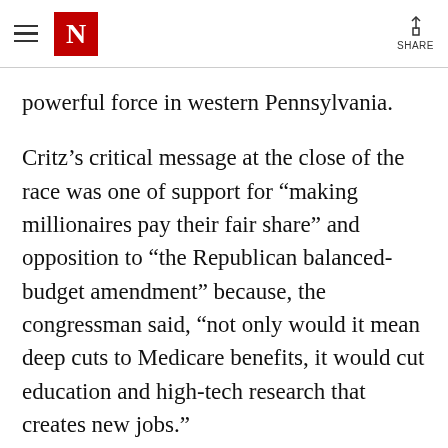N | SHARE
powerful force in western Pennsylvania.
Critz’s critical message at the close of the race was one of support for “making millionaires pay their fair share” and opposition to “the Republican balanced-budget amendment” because, the congressman said, “not only would it mean deep cuts to Medicare benefits, it would cut education and high-tech research that creates new jobs.”
The kicker: “Jason Altmire voted for the Republican balanced budget amendment.”